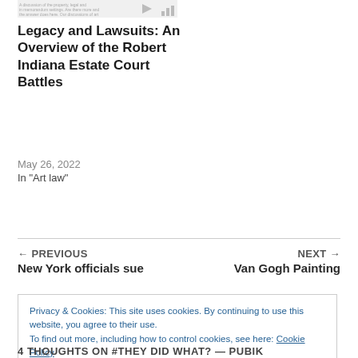[Figure (other): Small thumbnail/header image with faint text and icon]
Legacy and Lawsuits: An Overview of the Robert Indiana Estate Court Battles
May 26, 2022
In "Art law"
← PREVIOUS
New York officials sue
NEXT →
Van Gogh Painting
Privacy & Cookies: This site uses cookies. By continuing to use this website, you agree to their use.
To find out more, including how to control cookies, see here: Cookie Policy
Close and accept
4 THOUGHTS ON #THEY DID WHAT? — PUBIK